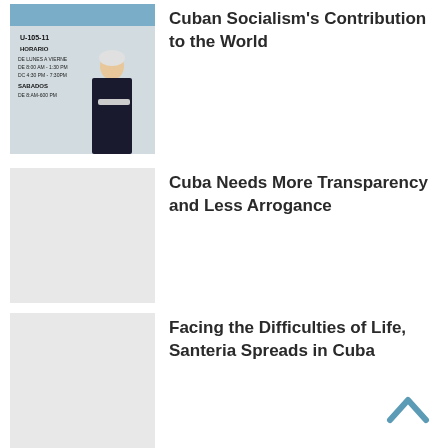[Figure (photo): Photo of a woman standing in front of a wall with handwritten schedule text reading U-105-11, HORARIO, SABADOS]
Cuban Socialism's Contribution to the World
Cuba Needs More Transparency and Less Arrogance
Facing the Difficulties of Life, Santeria Spreads in Cuba
Chile: Interview with Mapuche Environmentalist Alberto Curamil